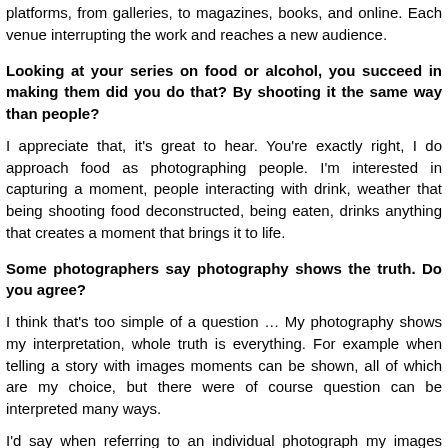platforms, from galleries, to magazines, books, and online. Each venue interrupting the work and reaches a new audience.
Looking at your series on food or alcohol, you succeed in making them did you do that? By shooting it the same way than people?
I appreciate that, it's great to hear. You're exactly right, I do approach food as photographing people. I'm interested in capturing a moment, people interacting with drink, weather that being shooting food deconstructed, being eaten, drinks anything that creates a moment that brings it to life.
Some photographers say photography shows the truth. Do you agree?
I think that's too simple of a question … My photography shows my interpretation, whole truth is everything. For example when telling a story with images moments can be shown, all of which are my choice, but there were of course question can be interpreted many ways.
I'd say when referring to an individual photograph my images very much show straightforward and immediate. The flash highlights all the information in the picture and when taking a photograph I like to be very close, sharing the same space photographing. Every little detail is revealed in my photographs.